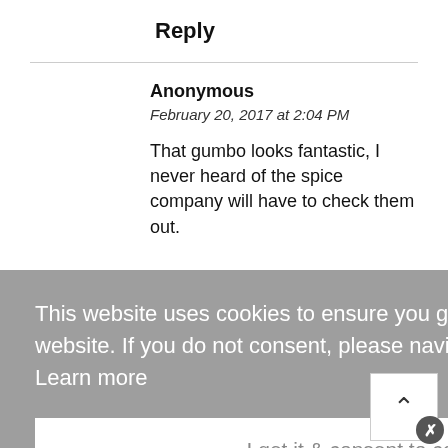Reply
Anonymous
February 20, 2017 at 2:04 PM
That gumbo looks fantastic, I never heard of the spice company will have to check them out.
This website uses cookies to ensure you get the best experience on our website. If you do not consent, please navigate away from the website.  Learn more
I get it & consent to cookies